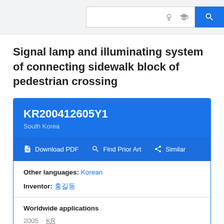Search bar with icons
Signal lamp and illuminating system of connecting sidewalk block of pedestrian crossing
KR200412605Y1
South Korea
Download PDF   Find Prior Art   Similar
Other languages: Korean
Inventor: 김철
Worldwide applications
2005 · KR